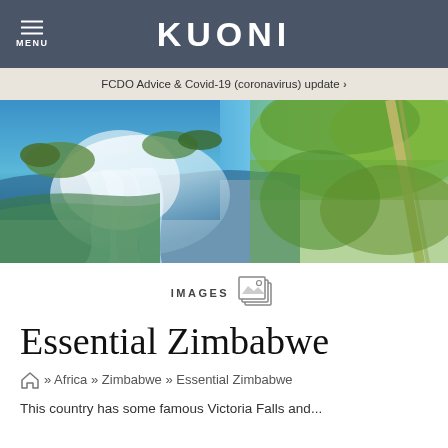KUONI
FCDO Advice & Covid-19 (coronavirus) update ›
[Figure (photo): Aerial view of Victoria Falls with mist rising, blue-green river water, lush green landscape and road visible in background]
IMAGES
Essential Zimbabwe
» Africa » Zimbabwe » Essential Zimbabwe
This country has some famous Victoria Falls and...